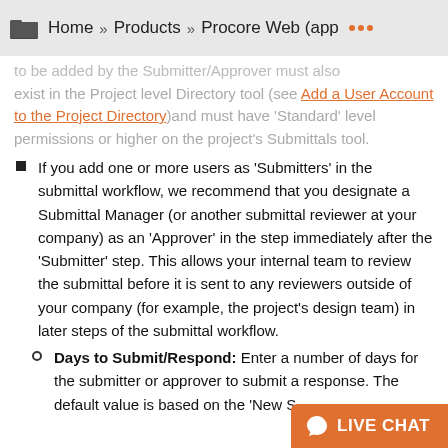Home » Products » Procore Web (app ···
to be added by the Submitter/Approver must also exist in the Project level Directory tool (see Add a User Account to the Project Directory) and must have 'Standard' level permissions or higher on the project's Submittals tool.
If you add one or more users as 'Submitters' in the submittal workflow, we recommend that you designate a Submittal Manager (or another submittal reviewer at your company) as an 'Approver' in the step immediately after the 'Submitter' step. This allows your internal team to review the submittal before it is sent to any reviewers outside of your company (for example, the project's design team) in later steps of the submittal workflow.
Days to Submit/Respond: Enter a number of days for the submitter or approver to submit a response. The default value is based on the 'New S...